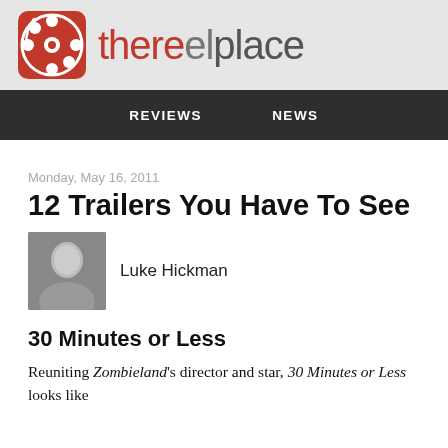thereelplace
REVIEWS   NEWS
Monday, May 16, 2011
12 Trailers You Have To See
Luke Hickman
30 Minutes or Less
Reuniting Zombieland's director and star, 30 Minutes or Less looks like